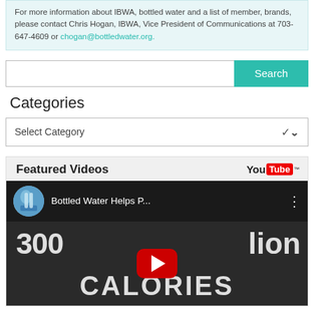For more information about IBWA, bottled water and a list of member, brands, please contact Chris Hogan, IBWA, Vice President of Communications at 703-647-4609 or chogan@bottledwater.org.
[Figure (screenshot): Search bar with green Search button]
Categories
[Figure (screenshot): Select Category dropdown]
Featured Videos
[Figure (screenshot): YouTube embedded video titled 'Bottled Water Helps P...' showing 300 billion CALORIES text with play button]